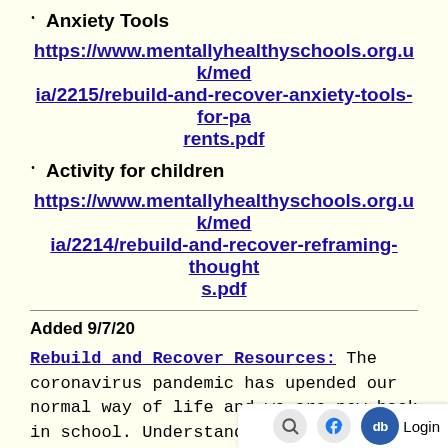Anxiety Tools
https://www.mentallyhealthyschools.org.uk/media/2215/rebuild-and-recover-anxiety-tools-for-parents.pdf
Activity for children
https://www.mentallyhealthyschools.org.uk/media/2214/rebuild-and-recover-reframing-thoughts.pdf
Added 9/7/20
Rebuild and Recover Resources: The coronavirus pandemic has upended our normal way of life and we are now back in school. Understandably, may be an anxious or di